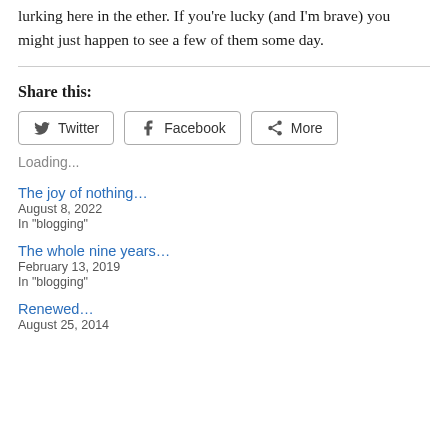lurking here in the ether. If you're lucky (and I'm brave) you might just happen to see a few of them some day.
Share this:
[Figure (other): Share buttons for Twitter, Facebook, and More]
Loading...
The joy of nothing…
August 8, 2022
In "blogging"
The whole nine years…
February 13, 2019
In "blogging"
Renewed…
August 25, 2014